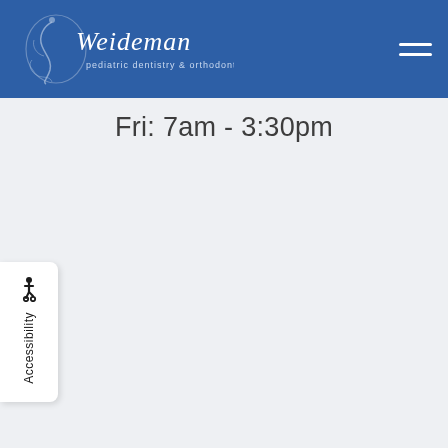Weideman pediatric dentistry & orthodontics
Fri: 7am - 3:30pm
Accessibility